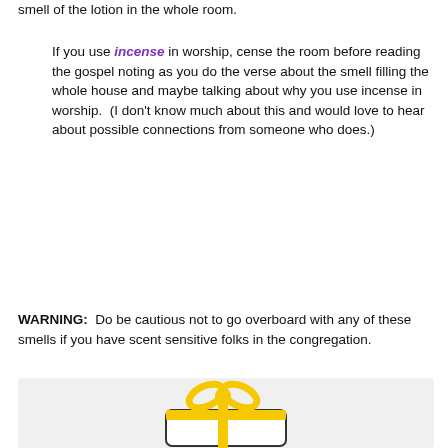smell of the lotion in the whole room.
If you use incense in worship, cense the room before reading the gospel noting as you do the verse about the smell filling the whole house and maybe talking about why you use incense in worship.  (I don't know much about this and would love to hear about possible connections from someone who does.)
WARNING:  Do be cautious not to go overboard with any of these smells if you have scent sensitive folks in the congregation.
[Figure (illustration): Simple hand-drawn style illustration of a wrapped gift box with a yellow bow on top, shown on a light gray background.]